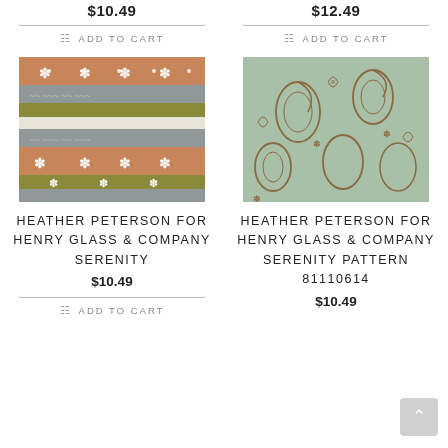$10.49
$12.49
ADD TO CART
ADD TO CART
[Figure (photo): Fabric with horizontal stripes in orange/peach, gray, and olive/white colors with floral cross motifs]
[Figure (photo): Light green fabric with brown paisley and floral scroll pattern]
HEATHER PETERSON FOR HENRY GLASS & COMPANY SERENITY
HEATHER PETERSON FOR HENRY GLASS & COMPANY SERENITY PATTERN 81110614
$10.49
$10.49
ADD TO CART